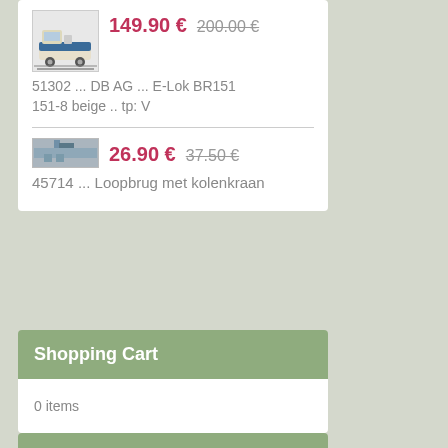[Figure (photo): Small model train locomotive, cream/beige and blue colors]
149.90 €   200.00 €
51302 ... DB AG ... E-Lok BR151 151-8 beige .. tp: V
[Figure (photo): Small model train track/accessory image]
26.90 €   37.50 €
45714 ... Loopbrug met kolenkraan
Shopping Cart
0 items
We Accept